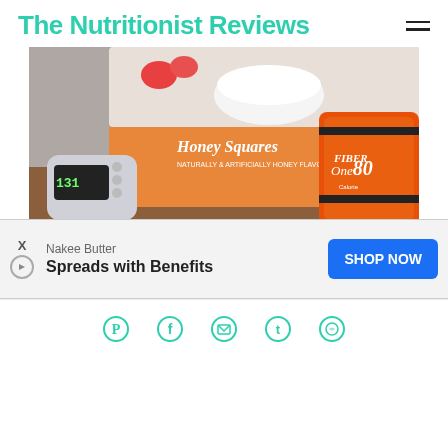The Nutritionist Reviews
[Figure (photo): Photo showing Fiber One Honey Squares cereal box, a small digital timer/scale, and an orange Fiber One 80 calories lunch bag on a wooden surface.]
I am a big fan of eating a lot of fiber in your diet and when it comes to Fiber One products, they are pretty great! My mom has been a long time fan of...
[Figure (other): Advertisement overlay: Nakee Butter - Spreads with Benefits - SHOP NOW button]
Social sharing icons: Pinterest, Facebook, Email, Twitter, WhatsApp